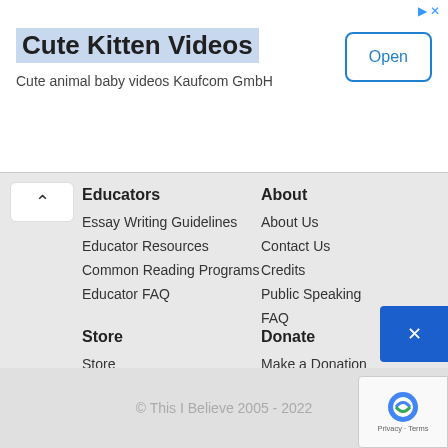[Figure (screenshot): Advertisement banner for 'Cute Kitten Videos' app by Kaufcom GmbH with an 'Open' button]
Cute Kitten Videos
Cute animal baby videos Kaufcom GmbH
Educators
Essay Writing Guidelines
Educator Resources
Common Reading Programs
Educator FAQ
About
About Us
Contact Us
Credits
Public Speaking
FAQ
Store
Store
My Account/Log Out
Order Tracking
Shopping Cart
Checkout
Donate
Make a Donation
© This I Believe 2005 - 2022